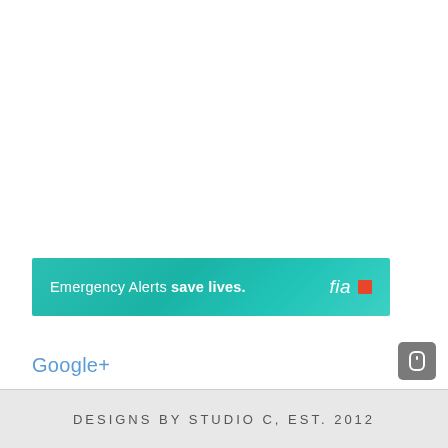[Figure (other): Teal/turquoise banner advertisement reading 'Emergency Alerts save lives.' with fia logo and red flag icon on the right]
Google+
[Figure (other): Small dark grey scroll-to-top button with mouse/scroll icon]
DESIGNS BY STUDIO C, EST. 2012